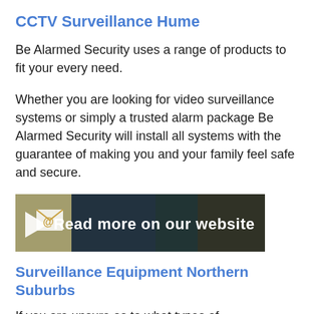CCTV Surveillance Hume
Be Alarmed Security uses a range of products to fit your every need.
Whether you are looking for video surveillance systems or simply a trusted alarm package Be Alarmed Security will install all systems with the guarantee of making you and your family feel safe and secure.
[Figure (infographic): Banner image with envelope/email icon and arrow on left side, text reading 'Read more on our website' in bold white on dark background, books visible in background.]
Surveillance Equipment Northern Suburbs
If you are unsure as to what types of